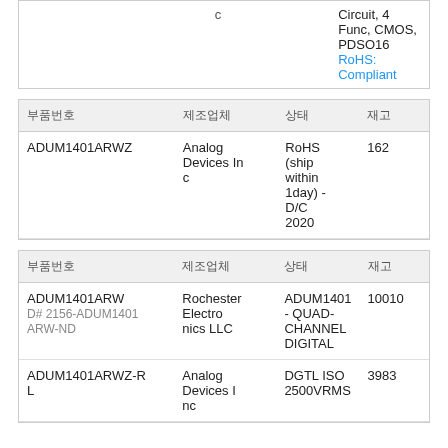| c | Circuit, 4 Func, CMOS, PDSO16
RoHS: Compliant |
| 부품번호 | 제조업체 | 상태 | 재고 |
| --- | --- | --- | --- |
| ADUM1401ARWZ | Analog Devices Inc | RoHS (ship within 1day) - D/C 2020 | 162 |
| 부품번호 | 제조업체 | 상태 | 재고 |
| --- | --- | --- | --- |
| ADUM1401ARW
D# 2156-ADUM1401ARW-ND | Rochester Electronics LLC | ADUM1401 - QUAD-CHANNEL DIGITAL | 10010 |
| ADUM1401ARWZ-RL | Analog Devices Inc | DGTL ISO 2500VRMS | 3983 |